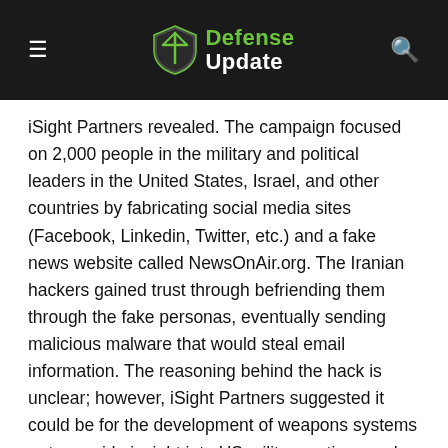Defense Update
iSight Partners revealed. The campaign focused on 2,000 people in the military and political leaders in the United States, Israel, and other countries by fabricating social media sites (Facebook, Linkedin, Twitter, etc.) and a fake news website called NewsOnAir.org. The Iranian hackers gained trust through befriending them through the fake personas, eventually sending malicious malware that would steal email information. The reasoning behind the hack is unclear; however, iSight Partners suggested it could be for the development of weapons systems or to provide insight into US military actions and negotiations with Middle Eastern countries.
China and APAC
South Korea developing new cyber technologies in